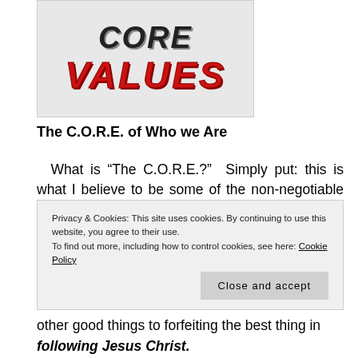[Figure (illustration): Logo image showing the text 'CORE' in bold italic dark letters and 'VALUES' in bold italic red letters, with a hand holding a green apple in the background.]
The C.O.R.E. of Who we Are
What is “The C.O.R.E.?”  Simply put: this is what I believe to be some of the non-negotiable make-up of the church and the life of a Christ-Follower.  There are far too many churches and people who have allowed a variety of things to rip them from the basics of the faith and today they find themselves confused about their identity and...
Privacy & Cookies: This site uses cookies. By continuing to use this website, you agree to their use.
To find out more, including how to control cookies, see here: Cookie Policy
other good things to forfeiting the best thing in following Jesus Christ.